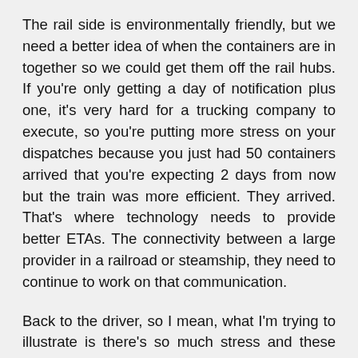The rail side is environmentally friendly, but we need a better idea of when the containers are in together so we could get them off the rail hubs. If you're only getting a day of notification plus one, it's very hard for a trucking company to execute, so you're putting more stress on your dispatches because you just had 50 containers arrived that you're expecting 2 days from now but the train was more efficient. They arrived. That's where technology needs to provide better ETAs. The connectivity between a large provider in a railroad or steamship, they need to continue to work on that communication.
Back to the driver, so I mean, what I'm trying to illustrate is there's so much stress and these drivers are at the mercy of what we're doing on our side, what the BCO side is doing, what the